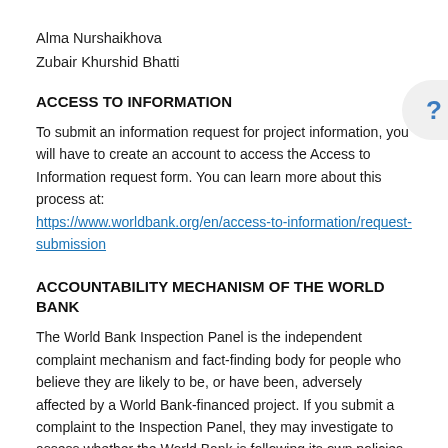Alma Nurshaikhova
Zubair Khurshid Bhatti
ACCESS TO INFORMATION
To submit an information request for project information, you will have to create an account to access the Access to Information request form. You can learn more about this process at: https://www.worldbank.org/en/access-to-information/request-submission
ACCOUNTABILITY MECHANISM OF THE WORLD BANK
The World Bank Inspection Panel is the independent complaint mechanism and fact-finding body for people who believe they are likely to be, or have been, adversely affected by a World Bank-financed project. If you submit a complaint to the Inspection Panel, they may investigate to assess whether the World Bank is following its own policies and procedures for preventing harm to people or the environment. You can contact the Inspection Panel or submit a complaint by emailing